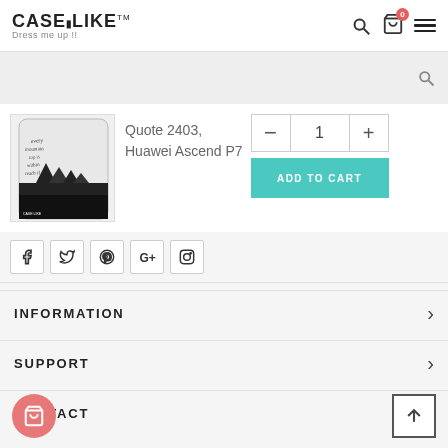CASELIKE™ Dress me up !!
Quote 2403, Huawei Ascend P7
[Figure (screenshot): Product image of a phone case with black and white handwriting/quote design]
INFORMATION
SUPPORT
CONTACT